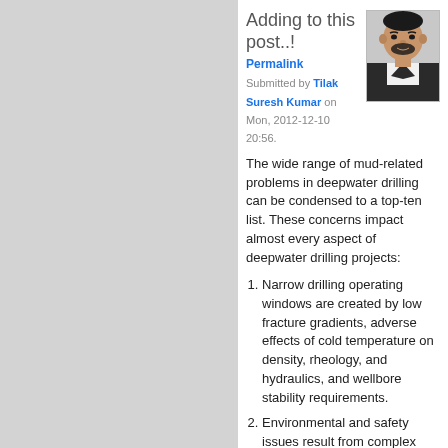Adding to this post..!
Permalink
Submitted by Tilak Suresh Kumar on Mon, 2012-12-10 20:56.
[Figure (photo): Profile photo of Tilak Suresh Kumar, a man in a dark jacket with a white shirt.]
The wide range of mud-related problems in deepwater drilling can be condensed to a top-ten list. These concerns impact almost every aspect of deepwater drilling projects:
Narrow drilling operating windows are created by low fracture gradients, adverse effects of cold temperature on density, rheology, and hydraulics, and wellbore stability requirements.
Environmental and safety issues result from complex interactions...